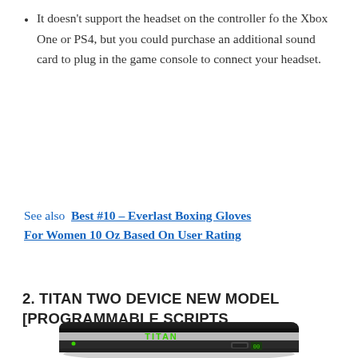It doesn't support the headset on the controller fo the Xbox One or PS4, but you could purchase an additional sound card to plug in the game console to connect your headset.
See also  Best #10 – Everlast Boxing Gloves For Women 10 Oz Based On User Rating
2. TITAN TWO DEVICE NEW MODEL [PROGRAMMABLE SCRIPTS
[Figure (photo): Photo of the Titan Two device, a compact black and silver gaming controller adapter with green 'TITAN' logo text and LED display visible]